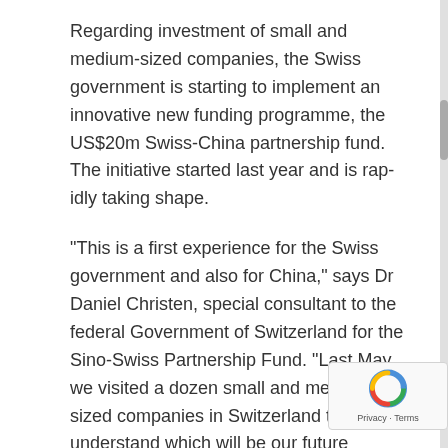Regarding investment of small and medium-sized companies, the Swiss government is starting to implement an innovative new funding programme, the US$20m Swiss-China partnership fund. The initiative started last year and is rap-idly taking shape.
"This is a first experience for the Swiss government and also for China," says Dr Daniel Christen, special consultant to the federal Government of Switzerland for the Sino-Swiss Partnership Fund. "Last May, we visited a dozen small and medium-sized companies in Switzerland to better understand which will be our future customers and we selected three projects." Christen adds that it is important to concentrate on a few projects rather than become distracted by the high demand for investment funds.
The Swiss government is financing 80 per cent of the fund, with the rest coming from the Chinese State Development Bank. The aim is to help medium-sized